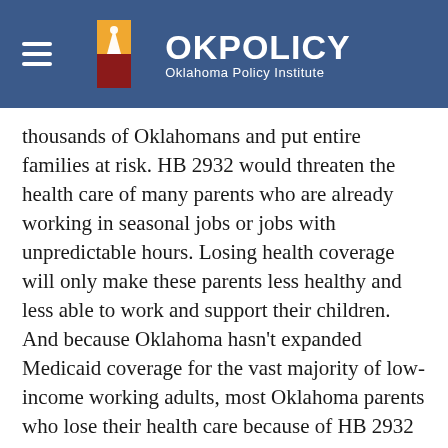OKPolicy Oklahoma Policy Institute
thousands of Oklahomans and put entire families at risk. HB 2932 would threaten the health care of many parents who are already working in seasonal jobs or jobs with unpredictable hours. Losing health coverage will only make these parents less healthy and less able to work and support their children. And because Oklahoma hasn't expanded Medicaid coverage for the vast majority of low-income working adults, most Oklahoma parents who lose their health care because of HB 2932 won't have other options.
SB 1140 would allow foster care agencies to discriminate against prospective parents based on religion, sexual